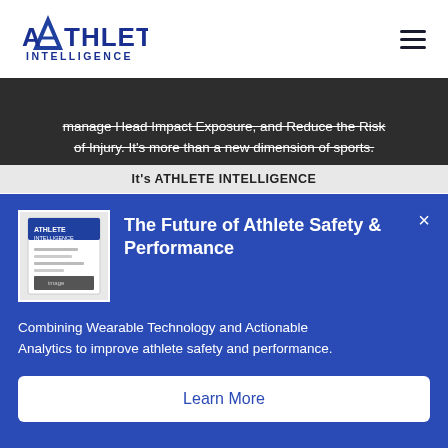[Figure (logo): Athlete Intelligence logo — stylized A with crossbar forming a mountain peak above the text ATHLETE INTELLIGENCE in dark navy blue]
manage Head Impact Exposure, and Reduce the Risk of Injury. It's more than a new dimension of sports.
It's ATHLETE INTELLIGENCE
[Figure (screenshot): Popup card with blue background showing Athlete Intelligence product — thumbnail image of a booklet/report on left, title 'The Future of Athlete Safety & Performance', body text 'Combining Wearable Technology and Actionable Analytics to improve athlete safety and performance.' and a white Learn More button]
The Future of Athlete Safety & Performance
Combining Wearable Technology and Actionable Analytics to improve athlete safety and performance.